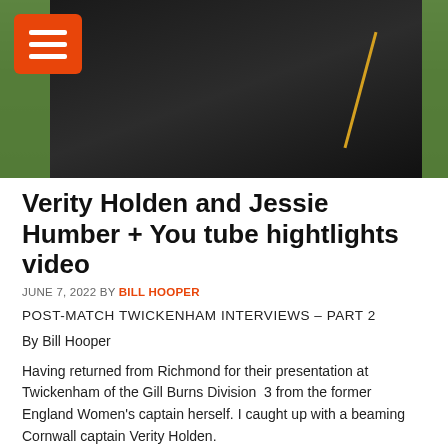[Figure (photo): Photo of a person in a black jersey/jacket with gold trim, standing on a grass field. An orange hamburger menu button is visible in the top-left corner.]
Verity Holden and Jessie Humber + You tube hightlights video
JUNE 7, 2022 BY BILL HOOPER
POST-MATCH TWICKENHAM INTERVIEWS – PART 2
By Bill Hooper
Having returned from Richmond for their presentation at Twickenham of the Gill Burns Division  3 from the former England Women's captain herself. I caught up with a beaming Cornwall captain Verity Holden.
I said to her that she must be a very proud captain today. "Proud is probably an understatement. I am over the moon. I